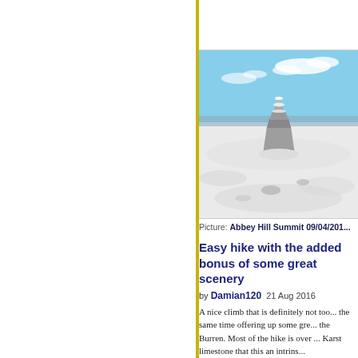[Figure (photo): Snow-covered summit with a stone cairn against a blue sky, Abbey Hill Summit]
Picture: Abbey Hill Summit 09/04/201...
Easy hike with the added bonus of some great scenery
by Damian120  21 Aug 2016
A nice climb that is definitely not too... the same time offering up some gre... the Burren. Most of the hike is over ... Karst limestone that this an intrins...